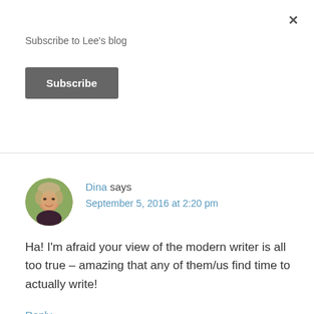Subscribe to Lee's blog
Subscribe
Dina says
September 5, 2016 at 2:20 pm
[Figure (photo): Circular avatar photo of a woman with gray-blonde hair smiling outdoors]
Ha! I'm afraid your view of the modern writer is all too true – amazing that any of them/us find time to actually write!
Reply